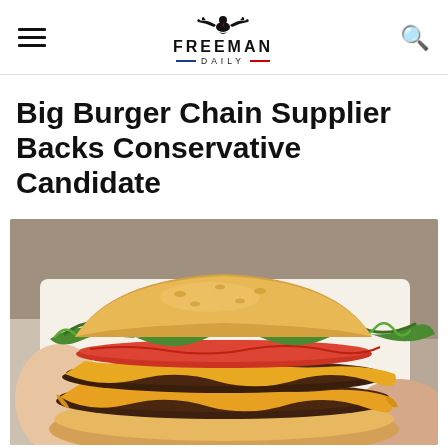FREEMAN DAILY
Big Burger Chain Supplier Backs Conservative Candidate
[Figure (photo): Close-up photo of a double cheeseburger with melted yellow cheese, tomato slices, and green lettuce, wrapped in white paper, held by a hand against a blurred background.]